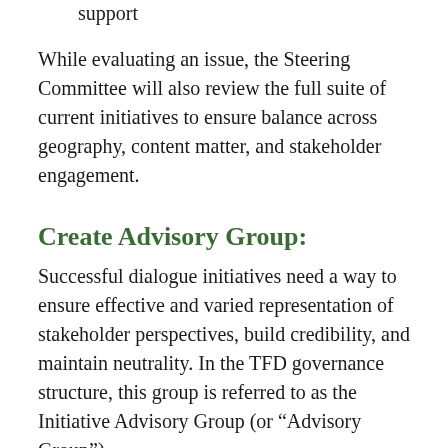availability of financial and logistical support
While evaluating an issue, the Steering Committee will also review the full suite of current initiatives to ensure balance across geography, content matter, and stakeholder engagement.
Create Advisory Group:
Successful dialogue initiatives need a way to ensure effective and varied representation of stakeholder perspectives, build credibility, and maintain neutrality. In the TFD governance structure, this group is referred to as the Initiative Advisory Group (or “Advisory Group”).